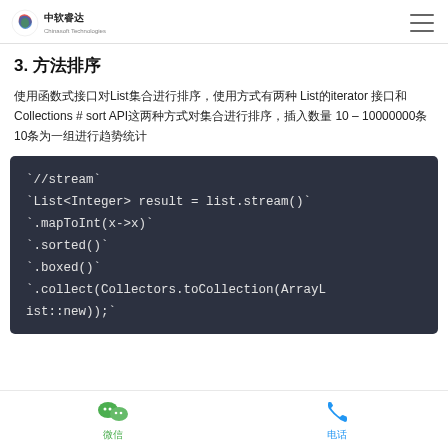中软睿达 logo and navigation menu
3. 方法排序
使用函数式接口对List集合进行排序，使用方式有两种 List的iterator 接口和 Collections # sort API这两种方式对集合进行排序，插入数量 10 – 10000000条10条为一组进行趋势统计
[Figure (screenshot): Code block showing Java stream sort implementation: //stream, List<Integer> result = list.stream(), .mapToInt(x->x), .sorted(), .boxed(), .collect(Collectors.toCollection(ArrayList::new));]
微信 电话